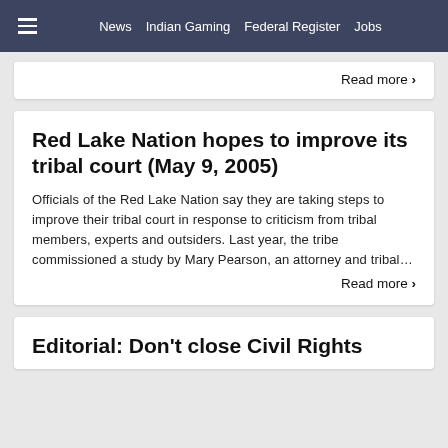≡  News  Indian Gaming  Federal Register  Jobs
Read more ›
Red Lake Nation hopes to improve its tribal court (May 9, 2005)
Officials of the Red Lake Nation say they are taking steps to improve their tribal court in response to criticism from tribal members, experts and outsiders. Last year, the tribe commissioned a study by Mary Pearson, an attorney and tribal…
Read more ›
Editorial: Don't close Civil Rights